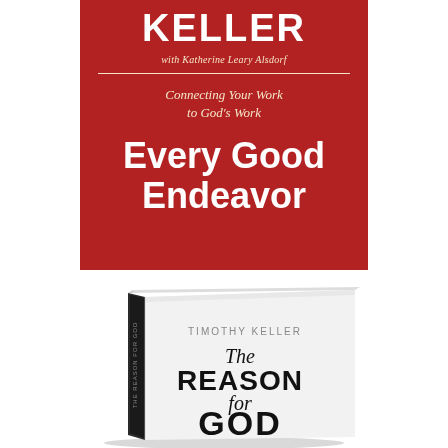[Figure (photo): Book cover of 'Every Good Endeavor' by Timothy Keller with Katherine Leary Alsdorf. Red background with white bold text for title and author name. Subtitle reads 'Connecting Your Work to God's Work' in cream italic text.]
[Figure (photo): Physical hardcover book of 'The Reason for God' by Timothy Keller. White cover with black text. Book is shown at a slight angle showing the spine and front cover. Text on cover reads: TIMOTHY KELLER, The, REASON, for, GOD]